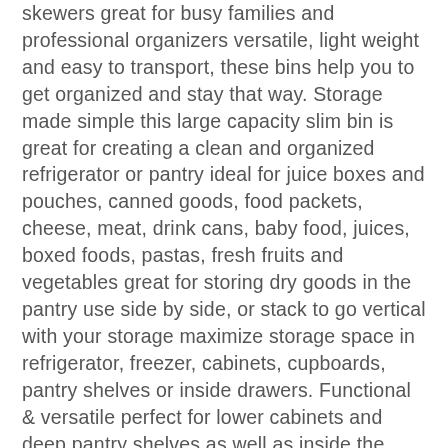skewers great for busy families and professional organizers versatile, light weight and easy to transport, these bins help you to get organized and stay that way. Storage made simple this large capacity slim bin is great for creating a clean and organized refrigerator or pantry ideal for juice boxes and pouches, canned goods, food packets, cheese, meat, drink cans, baby food, juices, boxed foods, pastas, fresh fruits and vegetables great for storing dry goods in the pantry use side by side, or stack to go vertical with your storage maximize storage space in refrigerator, freezer, cabinets, cupboards, pantry shelves or inside drawers. Functional & versatile perfect for lower cabinets and deep pantry shelves as well as inside the fridge or freezer these versatile storage bins can be used in any, use them in craft rooms, laundry/utility rooms, bedrooms, bathrooms, kitchens, offices, garages, toy room, and play rooms great in